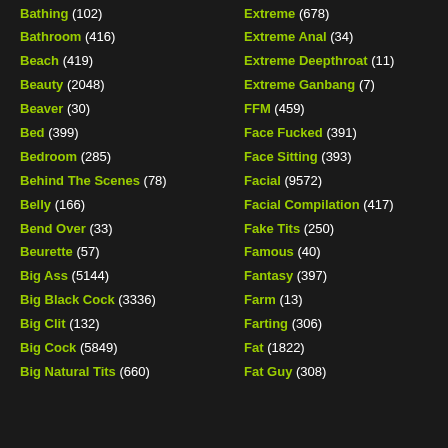Bathing (102)
Bathroom (416)
Beach (419)
Beauty (2048)
Beaver (30)
Bed (399)
Bedroom (285)
Behind The Scenes (78)
Belly (166)
Bend Over (33)
Beurette (57)
Big Ass (5144)
Big Black Cock (3336)
Big Clit (132)
Big Cock (5849)
Big Natural Tits (660)
Extreme (678)
Extreme Anal (34)
Extreme Deepthroat (11)
Extreme Ganbang (7)
FFM (459)
Face Fucked (391)
Face Sitting (393)
Facial (9572)
Facial Compilation (417)
Fake Tits (250)
Famous (40)
Fantasy (397)
Farm (13)
Farting (306)
Fat (1822)
Fat Guy (308)